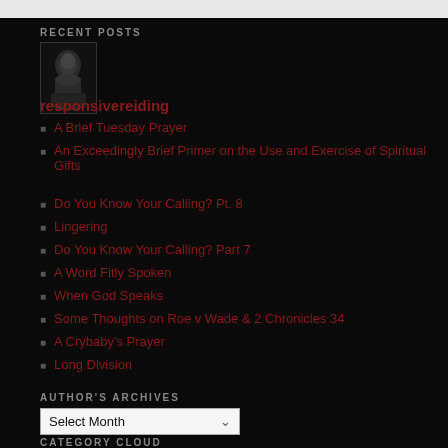RECENT POSTS
[Figure (photo): Grayscale portrait photo of a man (historical figure)]
responsivereiding
A Brief Tuesday Prayer
An Exceedingly Brief Primer on the Use and Exercise of Spiritual Gifts
Do You Know Your Calling? Pt. 8
Lingering
Do You Know Your Calling? Part 7
A Word Fitly Spoken
When God Speaks
Some Thoughts on Roe v Wade & 2 Chronicles 34
A Crybaby's Prayer
Long Division
AUTHOR'S ARCHIVES
Select Month
CATEGORY CLOUD